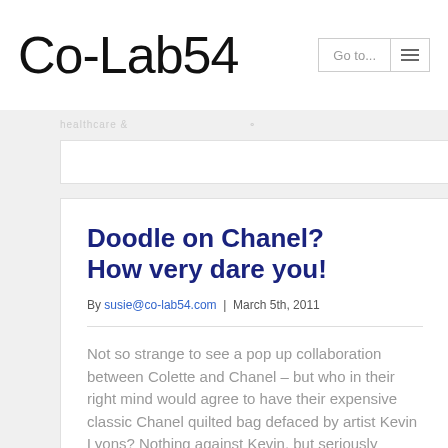Co-Lab54
Doodle on Chanel? How very dare you!
By susie@co-lab54.com | March 5th, 2011
Not so strange to see a pop up collaboration between Colette and Chanel – but who in their right mind would agree to have their expensive classic Chanel quilted bag defaced by artist Kevin Lyons? Nothing against Kevin, but seriously doodling on